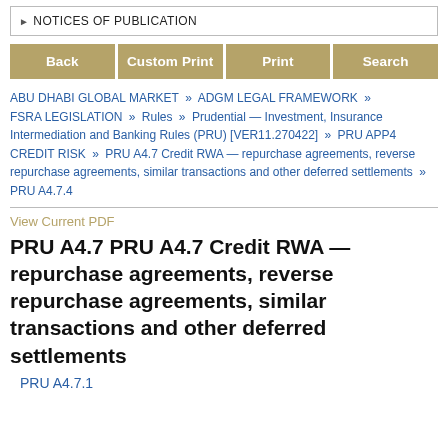▶ NOTICES OF PUBLICATION
Back | Custom Print | Print | Search
ABU DHABI GLOBAL MARKET » ADGM LEGAL FRAMEWORK » FSRA LEGISLATION » Rules » Prudential — Investment, Insurance Intermediation and Banking Rules (PRU) [VER11.270422] » PRU APP4 CREDIT RISK » PRU A4.7 Credit RWA — repurchase agreements, reverse repurchase agreements, similar transactions and other deferred settlements » PRU A4.7.4
View Current PDF
PRU A4.7 PRU A4.7 Credit RWA — repurchase agreements, reverse repurchase agreements, similar transactions and other deferred settlements
PRU A4.7.1